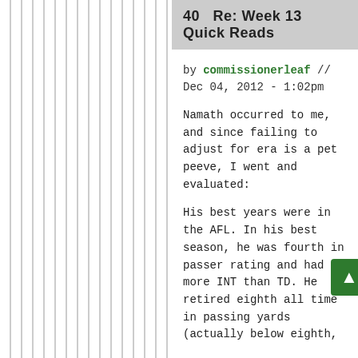40  Re: Week 13 Quick Reads
by commissionerleaf // Dec 04, 2012 - 1:02pm
Namath occurred to me, and since failing to adjust for era is a pet peeve, I went and evaluated:
His best years were in the AFL. In his best season, he was fourth in passer rating and had more INT than TD. He retired eighth all time in passing yards (actually below eighth,